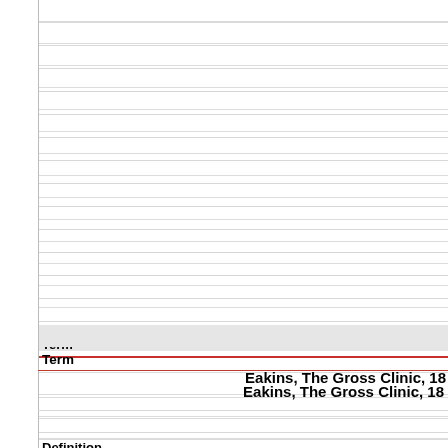Term
Eakins, The Gross Clinic, 18
Definition
[image]